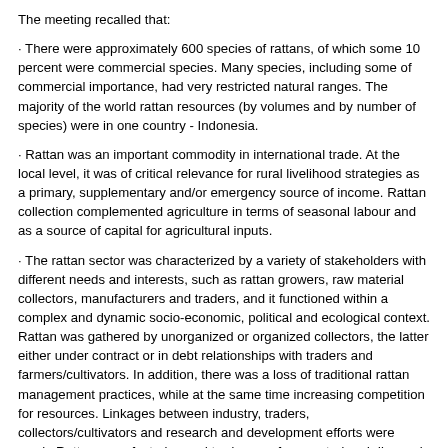The meeting recalled that:
· There were approximately 600 species of rattans, of which some 10 percent were commercial species. Many species, including some of commercial importance, had very restricted natural ranges. The majority of the world rattan resources (by volumes and by number of species) were in one country - Indonesia.
· Rattan was an important commodity in international trade. At the local level, it was of critical relevance for rural livelihood strategies as a primary, supplementary and/or emergency source of income. Rattan collection complemented agriculture in terms of seasonal labour and as a source of capital for agricultural inputs.
· The rattan sector was characterized by a variety of stakeholders with different needs and interests, such as rattan growers, raw material collectors, manufacturers and traders, and it functioned within a complex and dynamic socio-economic, political and ecological context. Rattan was gathered by unorganized or organized collectors, the latter either under contract or in debt relationships with traders and farmers/cultivators. In addition, there was a loss of traditional rattan management practices, while at the same time increasing competition for resources. Linkages between industry, traders, collectors/cultivators and research and development efforts were weak. Rattan manufacturing and trade were fragmented and diverse in size and markets, with a focus on export.
The meeting highlighted that taxonomic knowledge on species was patchy and available information conflicting. Likewise patchy was the knowledge of biological aspects, e.g. pollination and gene flow. In spite of the Red List of the World Conservation Union (IUCN) review of